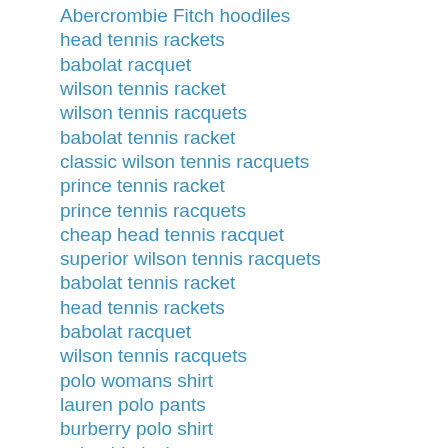Abercrombie Fitch hoodiles
head tennis rackets
babolat racquet
wilson tennis racket
wilson tennis racquets
babolat tennis racket
classic wilson tennis racquets
prince tennis racket
prince tennis racquets
cheap head tennis racquet
superior wilson tennis racquets
babolat tennis racket
head tennis rackets
babolat racquet
wilson tennis racquets
polo womans shirt
lauren polo pants
burberry polo shirt
columbia jacket mens
lauren polo long sleeves shirt
classic spyder jacket
red ralph lauren vest